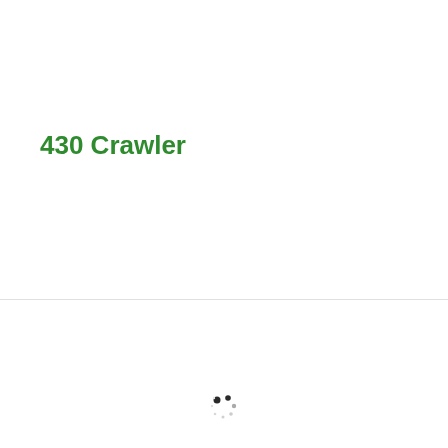430 Crawler
[Figure (other): Loading spinner animation icon with dark and light dots arranged in a circle]